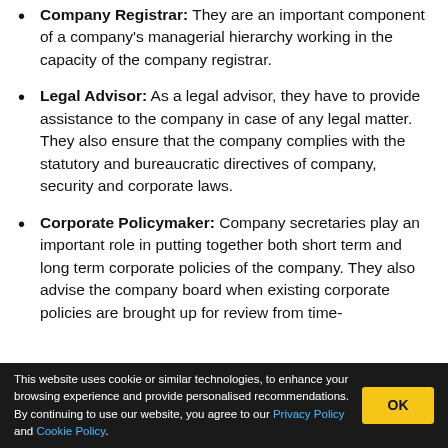Company Registrar: They are an important component of a company's managerial hierarchy working in the capacity of the company registrar.
Legal Advisor: As a legal advisor, they have to provide assistance to the company in case of any legal matter. They also ensure that the company complies with the statutory and bureaucratic directives of company, security and corporate laws.
Corporate Policymaker: Company secretaries play an important role in putting together both short term and long term corporate policies of the company. They also advise the company board when existing corporate policies are brought up for review from time-
This website uses cookie or similar technologies, to enhance your browsing experience and provide personalised recommendations. By continuing to use our website, you agree to our Privacy Policy and Cookie Policy.